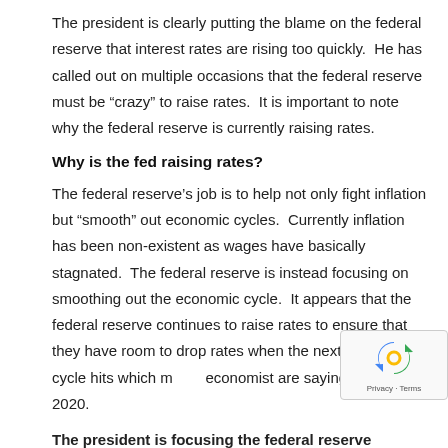The president is clearly putting the blame on the federal reserve that interest rates are rising too quickly.  He has called out on multiple occasions that the federal reserve must be “razy” to raise rates.  It is important to note why the federal reserve is currently raising rates.
Why is the fed raising rates?
The federal reserve’s job is to help not only fight inflation but “smooth” out economic cycles.  Currently inflation has been non-existent as wages have basically stagnated.  The federal reserve is instead focusing on smoothing out the economic cycle.  It appears that the federal reserve continues to raise rates to ensure that they have room to drop rates when the next economic cycle hits which many economist are saying is around 2020.
The president is focusing the federal reserve...